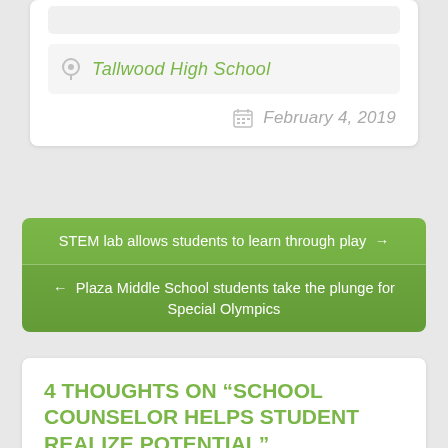[Figure (screenshot): Location field showing 'Tallwood High School' with a pin icon in a rounded input field]
February 4, 2019
STEM lab allows students to learn through play →
← Plaza Middle School students take the plunge for Special Olympics
4 THOUGHTS ON "SCHOOL COUNSELOR HELPS STUDENT REALIZE POTENTIAL"
BBinkVB | FEBRUARY 4, 2019 AT 1:33 PM